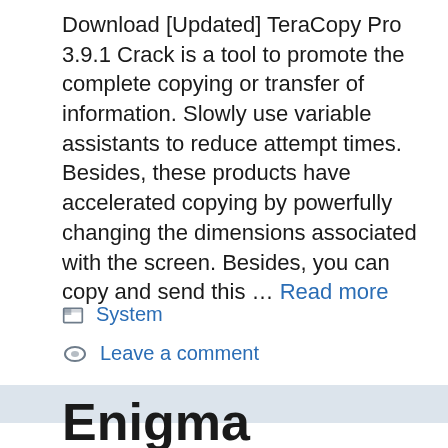Download [Updated] TeraCopy Pro 3.9.1 Crack is a tool to promote the complete copying or transfer of information. Slowly use variable assistants to reduce attempt times. Besides, these products have accelerated copying by powerfully changing the dimensions associated with the screen. Besides, you can copy and send this … Read more
System
Leave a comment
Enigma Recovery